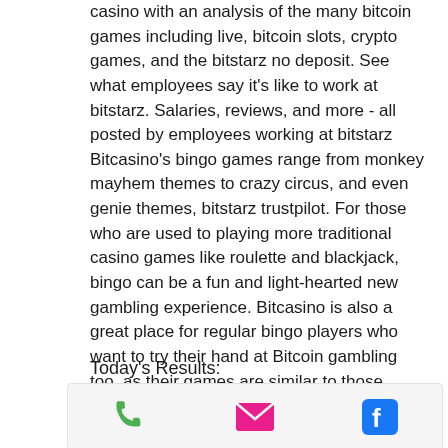casino with an analysis of the many bitcoin games including live, bitcoin slots, crypto games, and the bitstarz no deposit. See what employees say it's like to work at bitstarz. Salaries, reviews, and more - all posted by employees working at bitstarz Bitcasino's bingo games range from monkey mayhem themes to crazy circus, and even genie themes, bitstarz trustpilot. For those who are used to playing more traditional casino games like roulette and blackjack, bingo can be a fun and light-hearted new gambling experience. Bitcasino is also a great place for regular bingo players who want to try their hand at Bitcoin gambling too, as their games are similar to those found at Mecca or Gala bingo.
Today's Results:
[Figure (other): Bottom bar with three icons: green phone icon, pink/magenta email envelope icon, and blue Facebook logo icon]